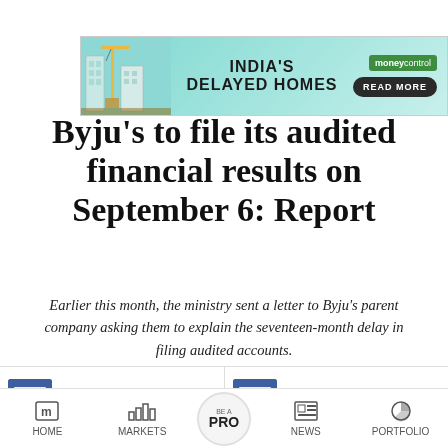[Figure (infographic): Moneycontrol advertisement banner for 'India's Delayed Homes' with teal background, construction imagery on left, black title text in center, and green Moneycontrol logo with Read More button on right]
Byju’s to file its audited financial results on September 6: Report
Earlier this month, the ministry sent a letter to Byju’s parent company asking them to explain the seventeen-month delay in filing audited accounts.
Byju’s to file its audited financial results on Sept...
MC Insider: Stock market operators besting retail...
HOME   MARKETS   BE A PRO   NEWS   PORTFOLIO